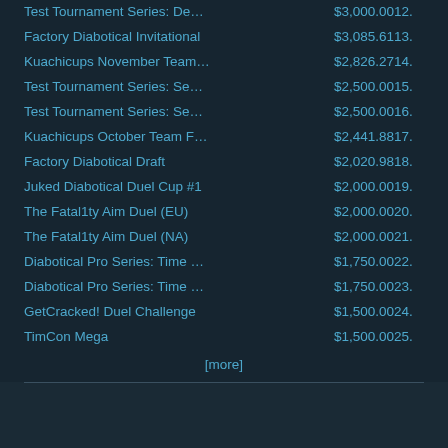| Tournament | Prize |
| --- | --- |
| Test Tournament Series: De… | $3,000.0012. |
| Factory Diabotical Invitational | $3,085.6113. |
| Kuachicups November Team… | $2,826.2714. |
| Test Tournament Series: Se… | $2,500.0015. |
| Test Tournament Series: Se… | $2,500.0016. |
| Kuachicups October Team F… | $2,441.8817. |
| Factory Diabotical Draft | $2,020.9818. |
| Juked Diabotical Duel Cup #1 | $2,000.0019. |
| The Fatal1ty Aim Duel (EU) | $2,000.0020. |
| The Fatal1ty Aim Duel (NA) | $2,000.0021. |
| Diabotical Pro Series: Time … | $1,750.0022. |
| Diabotical Pro Series: Time … | $1,750.0023. |
| GetCracked! Duel Challenge | $1,500.0024. |
| TimCon Mega | $1,500.0025. |
[more]